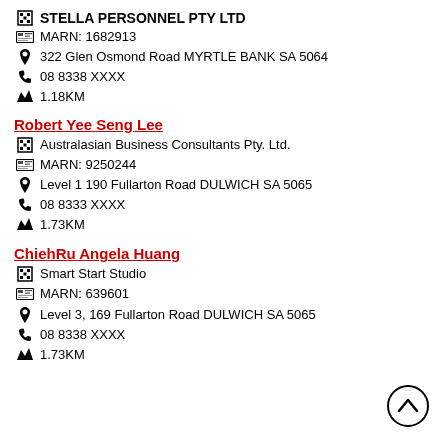STELLA PERSONNEL PTY LTD
MARN: 1682913
322 Glen Osmond Road MYRTLE BANK SA 5064
08 8338 XXXX
1.18KM
Robert Yee Seng Lee
Australasian Business Consultants Pty. Ltd.
MARN: 9250244
Level 1 190 Fullarton Road DULWICH SA 5065
08 8333 XXXX
1.73KM
ChiehRu Angela Huang
Smart Start Studio
MARN: 639601
Level 3, 169 Fullarton Road DULWICH SA 5065
08 8338 XXXX
1.73KM